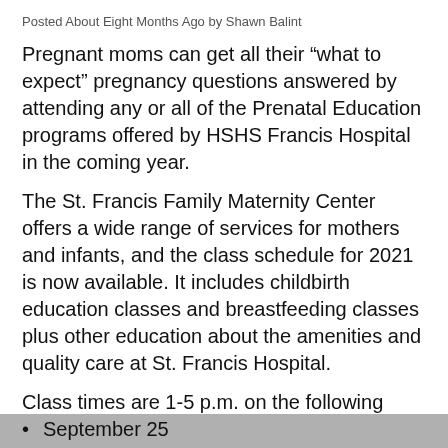Posted About Eight Months Ago by Shawn Balint
Pregnant moms can get all their “what to expect” pregnancy questions answered by attending any or all of the Prenatal Education programs offered by HSHS Francis Hospital in the coming year.
The St. Francis Family Maternity Center offers a wide range of services for mothers and infants, and the class schedule for 2021 is now available. It includes childbirth education classes and breastfeeding classes plus other education about the amenities and quality care at St. Francis Hospital.
Class times are 1-5 p.m. on the following dates:
January 9
March 6
May 15
July 17
September 25